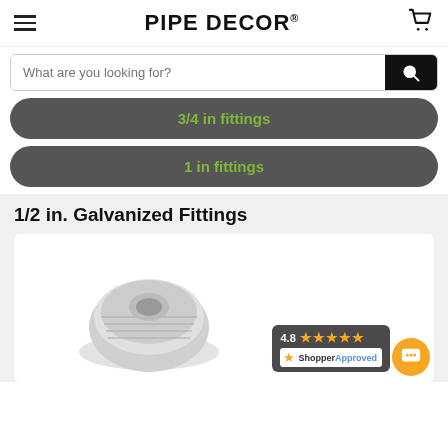PIPE DECOR®
What are you looking for?
3/4 in fittings
1 in fittings
1/2 in. Galvanized Fittings
[Figure (photo): Galvanized pipe fitting product image with Shopper Approved badge showing 4.8 star rating]
4.8 ★★★★★ ShopperApproved